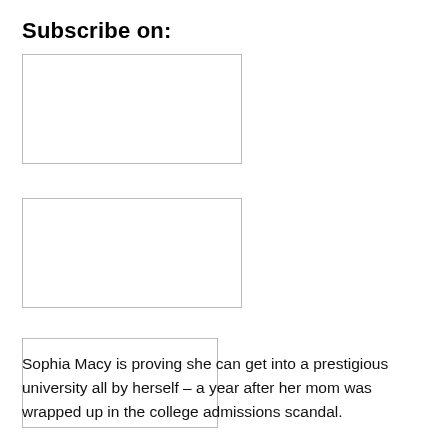Subscribe on:
[Figure (other): Subscription service logo/image box 1 (empty placeholder rectangle)]
[Figure (other): Subscription service logo/image box 2 (empty placeholder rectangle)]
[Figure (other): Subscription service logo/image box 3 (empty placeholder rectangle)]
Sophia Macy is proving she can get into a prestigious university all by herself – a year after her mom was wrapped up in the college admissions scandal.